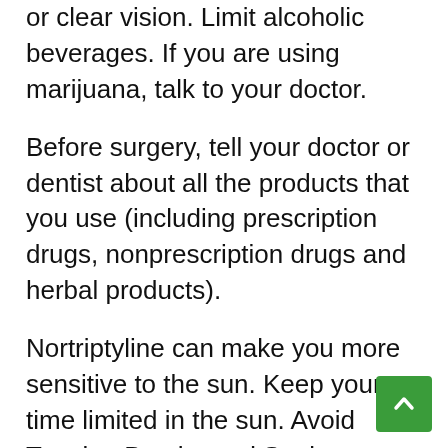or clear vision. Limit alcoholic beverages. If you are using marijuana, talk to your doctor.
Before surgery, tell your doctor or dentist about all the products that you use (including prescription drugs, nonprescription drugs and herbal products).
Nortriptyline can make you more sensitive to the sun. Keep your time limited in the sun. Avoid Tanning Booths and Sunlamps. Use sunscreen on the outside and wear protective clothing. Tell your doctor immediately if you have sunburned or have blisters / redness on the skin.
This drug can have alcohol in liquid form. If you are advised to take precautions in diabetes.